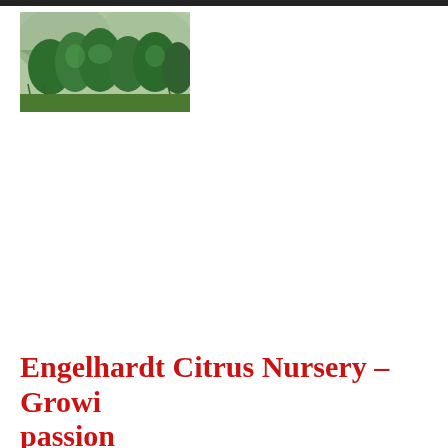[Figure (photo): Photo of green citrus trees and lush vegetation on a hillside, misty background]
ABOUT   VARIETIES   ROOTSTOCK   ORCHADISTS   PROUDLY SUPPORTING
Engelhardt Citrus Nursery – Growing with passion
Our family has been growing fruit trees for over 100 years. Mo...